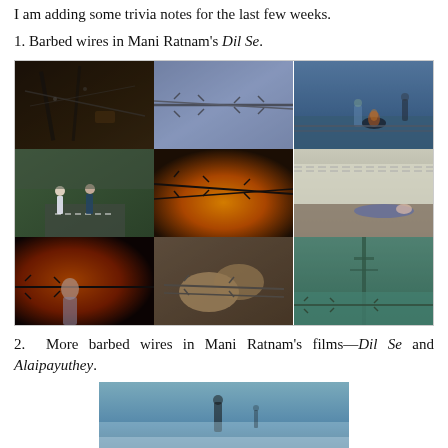I am adding some trivia notes for the last few weeks.
1. Barbed wires in Mani Ratnam's Dil Se.
[Figure (photo): 3x3 grid of movie stills from Mani Ratnam's Dil Se showing barbed wires in various scenes — dark industrial structures, close-up barbed wire, woman by fire with barbed fence, two men fighting near barbed wire, barbed wire with orange/fire background, man lying on ground, woman singing near barbed wire with fire, hands gripping barbed wire, and a tower reflected in water with barbed wire foreground.]
2. More barbed wires in Mani Ratnam's films—Dil Se and Alaipayuthey.
[Figure (photo): Partial view of a movie still showing a silhouetted figure walking in a misty/foggy scene, partially visible at bottom of page.]